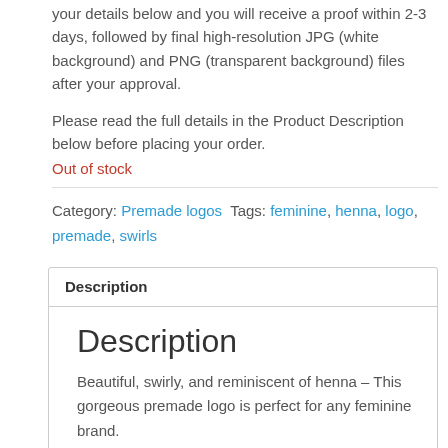your details below and you will receive a proof within 2-3 days, followed by final high-resolution JPG (white background) and PNG (transparent background) files after your approval.
Please read the full details in the Product Description below before placing your order.
Out of stock
Category: Premade logos Tags: feminine, henna, logo, premade, swirls
Description
Description
Beautiful, swirly, and reminiscent of henna – This gorgeous premade logo is perfect for any feminine brand.